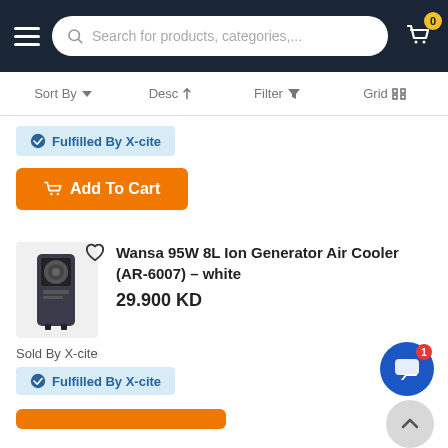[Figure (screenshot): E-commerce website navigation bar with hamburger menu, search bar reading 'Search for products, categories,...', and shopping cart icon with badge showing 0]
Sort By   Desc   Filter   Grid
Fulfilled By X-cite
Add To Cart
Wansa 95W 8L Ion Generator Air Cooler (AR-6007) – white
29.900 KD
Sold By X-cite
Fulfilled By X-cite